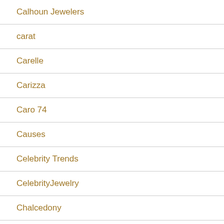Calhoun Jewelers
carat
Carelle
Carizza
Caro 74
Causes
Celebrity Trends
CelebrityJewelry
Chalcedony